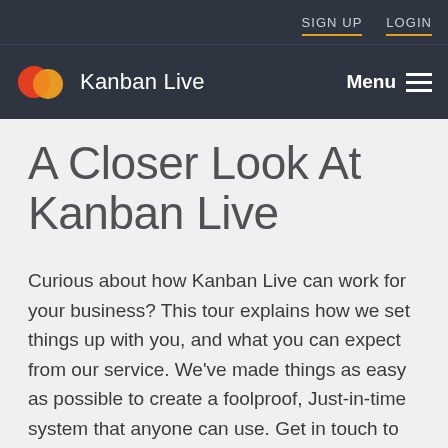SIGN UP   LOGIN
[Figure (logo): Kanban Live logo with two overlapping circles (red/orange and yellow/orange) and text 'Kanban Live']
A Closer Look At Kanban Live
Curious about how Kanban Live can work for your business? This tour explains how we set things up with you, and what you can expect from our service. We've made things as easy as possible to create a foolproof, Just-in-time system that anyone can use. Get in touch to see